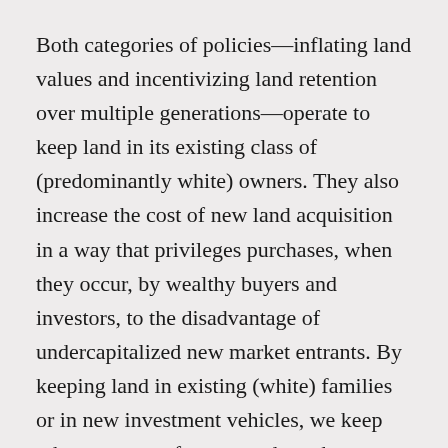Both categories of policies—inflating land values and incentivizing land retention over multiple generations—operate to keep land in its existing class of (predominantly white) owners. They also increase the cost of new land acquisition in a way that privileges purchases, when they occur, by wealthy buyers and investors, to the disadvantage of undercapitalized new market entrants. By keeping land in existing (white) families or in new investment vehicles, we keep other emergent farmers and ranchers out.
But this Section highlights another difficult truth. Even when minority farmers do acquire land, they are more likely to lose it than their white